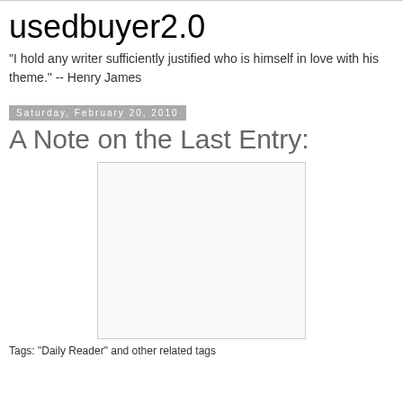usedbuyer2.0
"I hold any writer sufficiently justified who is himself in love with his theme." -- Henry James
Saturday, February 20, 2010
A Note on the Last Entry:
[Figure (other): Blank/white image placeholder with light border]
Tagged: "Daily Reader" and other categories/tags